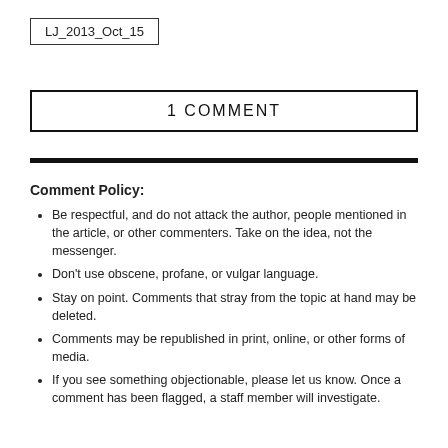LJ_2013_Oct_15
1 COMMENT
Comment Policy:
Be respectful, and do not attack the author, people mentioned in the article, or other commenters. Take on the idea, not the messenger.
Don't use obscene, profane, or vulgar language.
Stay on point. Comments that stray from the topic at hand may be deleted.
Comments may be republished in print, online, or other forms of media.
If you see something objectionable, please let us know. Once a comment has been flagged, a staff member will investigate.